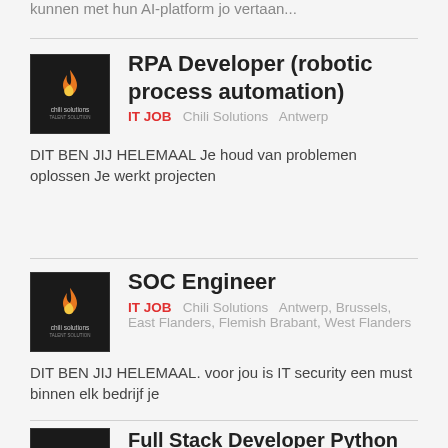kunnen met hun AI-platform jo vertaan...
RPA Developer (robotic process automation)
IT JOB  Chili Solutions  Antwerp
DIT BEN JIJ HELEMAAL Je houd van problemen oplossen Je werkt projecten
SOC Engineer
IT JOB  Chili Solutions  Antwerp, Brussels, East Flanders, Flemish Brabant, West Flanders
DIT BEN JIJ HELEMAAL. voor jou is IT security een must binnen elk bedrijf je
Full Stack Developer Python